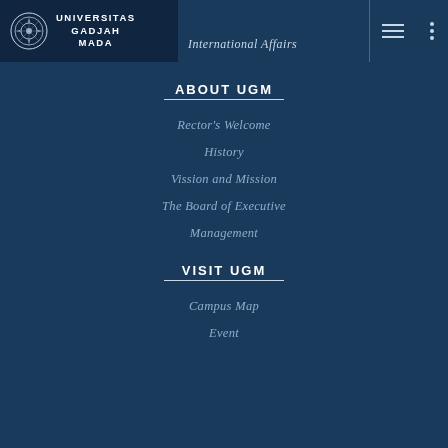[Figure (logo): Universitas Gadjah Mada logo with circular seal and text UNIVERSITAS GADJAH MADA]
International Affairs
ABOUT UGM
Rector's Welcome
History
Vission and Mission
The Board of Executive
Management
VISIT UGM
Campus Map
Event